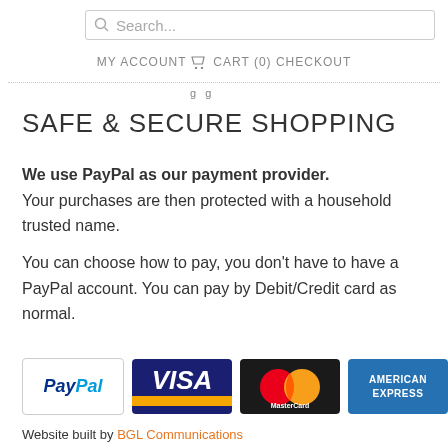Search... | MY ACCOUNT | CART (0) | CHECKOUT
SAFE & SECURE SHOPPING
We use PayPal as our payment provider. Your purchases are then protected with a household trusted name.
You can choose how to pay, you don't have to have a PayPal account. You can pay by Debit/Credit card as normal.
[Figure (logo): Payment method logos: PayPal, Visa, Mastercard, American Express]
Website built by BGL Communications
Registered in UK No. 8846638 VAT No. 178987229
Copyright Knight Jewellers Ltd. 2016
PRIVACY POLICY | TERMS OF SERVICE